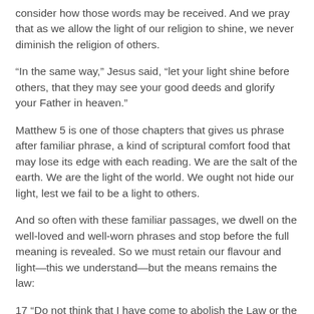consider how those words may be received. And we pray that as we allow the light of our religion to shine, we never diminish the religion of others.
“In the same way,” Jesus said, “let your light shine before others, that they may see your good deeds and glorify your Father in heaven.”
Matthew 5 is one of those chapters that gives us phrase after familiar phrase, a kind of scriptural comfort food that may lose its edge with each reading. We are the salt of the earth. We are the light of the world. We ought not hide our light, lest we fail to be a light to others.
And so often with these familiar passages, we dwell on the well-loved and well-worn phrases and stop before the full meaning is revealed. So we must retain our flavour and light—this we understand—but the means remains the law:
17 “Do not think that I have come to abolish the Law or the Prophets; I have not come to abolish them but to fulfill them. 18 For truly I tell you, until heaven and earth disappear, not